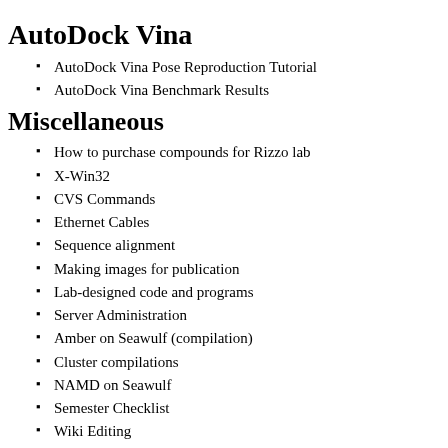AutoDock Vina
AutoDock Vina Pose Reproduction Tutorial
AutoDock Vina Benchmark Results
Miscellaneous
How to purchase compounds for Rizzo lab
X-Win32
CVS Commands
Ethernet Cables
Sequence alignment
Making images for publication
Lab-designed code and programs
Server Administration
Amber on Seawulf (compilation)
Cluster compilations
NAMD on Seawulf
Semester Checklist
Wiki Editing